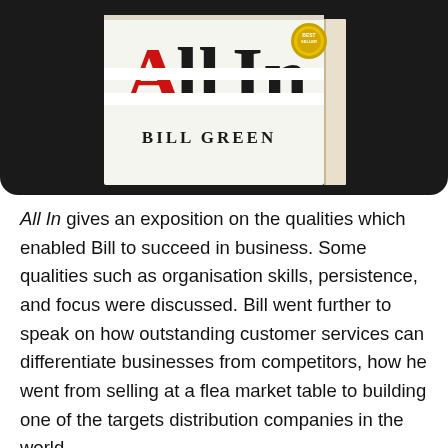[Figure (photo): A book cover showing 'All In' by Bill Green with red and black letters on a white spine, displayed against a dark/black background. A gold award seal is visible on the cover.]
All In gives an exposition on the qualities which enabled Bill to succeed in business. Some qualities such as organisation skills, persistence, and focus were discussed. Bill went further to speak on how outstanding customer services can differentiate businesses from competitors, how he went from selling at a flea market table to building one of the targets distribution companies in the world.